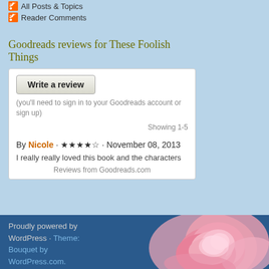All Posts & Topics
Reader Comments
Goodreads reviews for These Foolish Things
[Figure (screenshot): Goodreads review widget showing 'Write a review' button, sign-in prompt, 'Showing 1-5', and a review by Nicole with 4 stars dated November 08, 2013, beginning 'I really really loved this book and the characters']
Proudly powered by WordPress · Theme: Bouquet by WordPress.com.
[Figure (photo): Pink rose photo in bottom right corner]